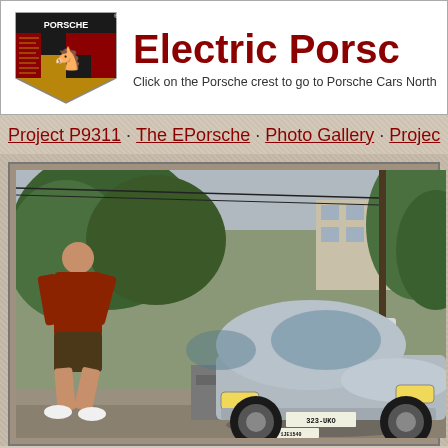Electric Porsc
Click on the Porsche crest to go to Porsche Cars North
Project P9311 · The EPorsche · Photo Gallery · Projec
[Figure (photo): Outdoor photo showing a silver Porsche 911 parked in a driveway with a person in a red shirt walking nearby, trees and a building in the background, telephone pole visible]